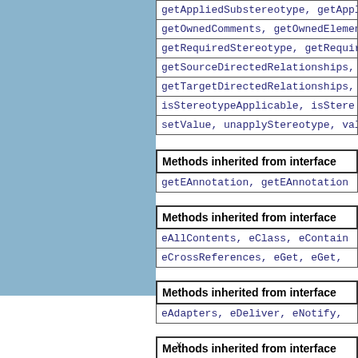getAppliedSubstereotype, getAppl... getOwnedComments, getOwnedElement... getRequiredStereotype, getRequir... getSourceDirectedRelationships, ... getTargetDirectedRelationships, ... isStereotypeApplicable, isStere... setValue, unapplyStereotype, val...
Methods inherited from interface
getEAnnotation, getEAnnotation...
Methods inherited from interface
eAllContents, eClass, eContain... eCrossReferences, eGet, eGet,
Methods inherited from interface
eAdapters, eDeliver, eNotify,
Methods inherited from interface
getType, setType